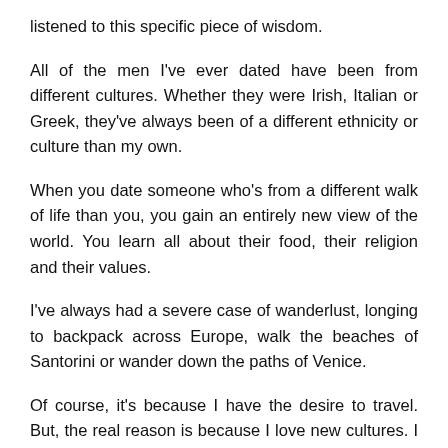listened to this specific piece of wisdom.
All of the men I've ever dated have been from different cultures. Whether they were Irish, Italian or Greek, they've always been of a different ethnicity or culture than my own.
When you date someone who's from a different walk of life than you, you gain an entirely new view of the world. You learn all about their food, their religion and their values.
I've always had a severe case of wanderlust, longing to backpack across Europe, walk the beaches of Santorini or wander down the paths of Venice.
Of course, it's because I have the desire to travel. But, the real reason is because I love new cultures. I love learning about people's ways of life, how they were brought up and what values their ethnicities hold dearly.
A college girl working three jobs and saving for her loans and